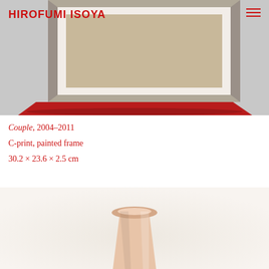HIROFUMI ISOYA
[Figure (photo): Close-up photograph of a framed picture with a red painted wooden frame on a gray surface, viewed from slightly above.]
Couple, 2004–2011
C-print, painted frame
30.2 × 23.6 × 2.5 cm
[Figure (photo): Photograph of a pale pink/skin-toned cup or vessel object on a white background.]